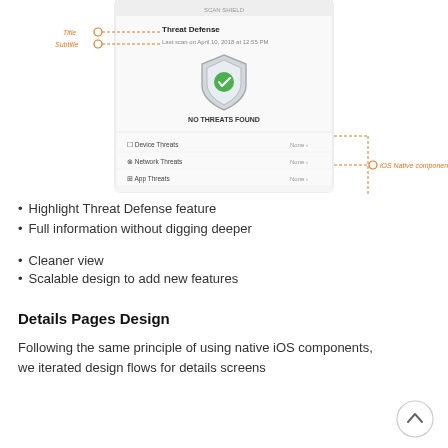[Figure (screenshot): iOS mobile app screenshot showing Threat Defense screen with shield icon, 'NO THREATS FOUND' text, and list rows: Device Threats None, Network Threats None, App Threats None. Annotations label Title, Subtitle, and iOS Native component with orange dashed lines.]
Highlight Threat Defense feature
Full information without digging deeper
Cleaner view
Scalable design to add new features
Details Pages Design
Following the same principle of using native iOS components, we iterated design flows for details screens